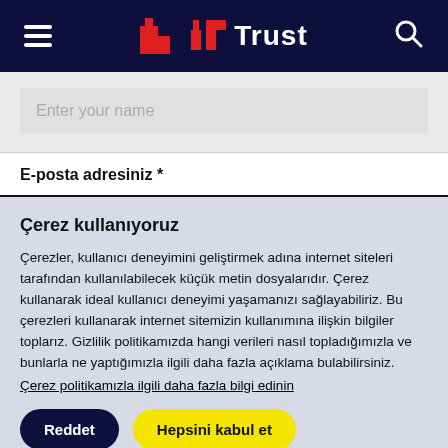Trust — navigation header with hamburger menu and search icon
Enter your name
E-posta adresiniz *
Çerez kullanıyoruz
Çerezler, kullanıcı deneyimini geliştirmek adına internet siteleri tarafından kullanılabilecek küçük metin dosyalarıdır. Çerez kullanarak ideal kullanıcı deneyimi yaşamanızı sağlayabiliriz. Bu çerezleri kullanarak internet sitemizin kullanımına ilişkin bilgiler toplarız. Gizlilik politikamızda hangi verileri nasıl topladığımızla ve bunlarla ne yaptığımızla ilgili daha fazla açıklama bulabilirsiniz. Çerez politikamızla ilgili daha fazla bilgi edinin
Reddet
Hepsini kabul et
çerez ayarları